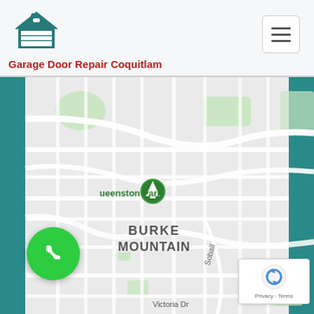[Figure (logo): Teal/dark cyan house icon with garage door]
Garage Door Repair Coquitlam
[Figure (other): Hamburger menu button (three horizontal lines)]
[Figure (map): Google Maps screenshot showing Burke Mountain area in Coquitlam, BC. Shows Queenston Park with green tree marker, The Ridge at Burke Mountain by Foxridge (Temporarily closed) with gray location pin, Burke Mountain label, David Ave, Soball St, Victoria Dr labels. Green parks visible. Teal vertical bars on left and right sides of map.]
[Figure (other): Green circular phone/call button with white phone handset icon]
[Figure (other): reCAPTCHA badge with Privacy and Terms links]